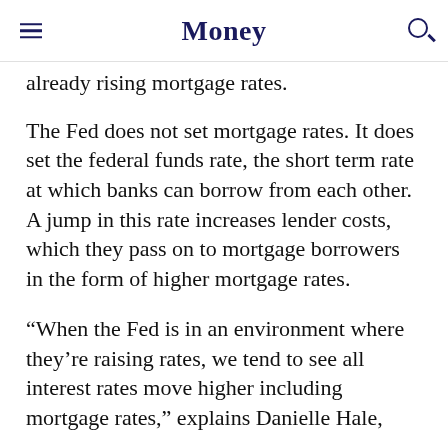Money
already rising mortgage rates.
The Fed does not set mortgage rates. It does set the federal funds rate, the short term rate at which banks can borrow from each other. A jump in this rate increases lender costs, which they pass on to mortgage borrowers in the form of higher mortgage rates.
“When the Fed is in an environment where they’re raising rates, we tend to see all interest rates move higher including mortgage rates,” explains Danielle Hale,